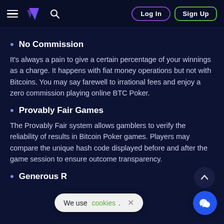Navigation bar with hamburger menu, logo, search icon, Log In and Sign Up buttons
No Commission
It's always a pain to give a certain percentage of your winnings as a charge. It happens with fiat money operations but not with Bitcoins. You may say farewell to irrational fees and enjoy a zero commission playing online BTC Poker.
Provably Fair Games
The Provably Fair system allows gamblers to verify the reliability of results in Bitcoin Poker games. Players may compare the unique hash code displayed before and after the game session to ensure outcome transparency.
Generous R...
We use cookies.